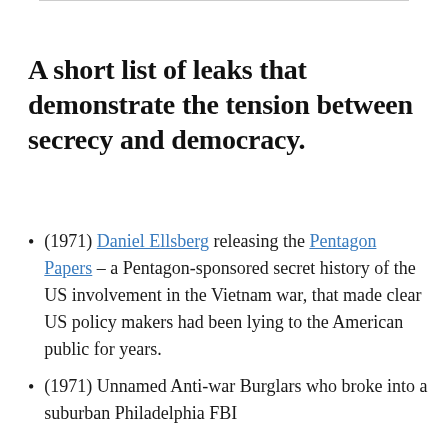A short list of leaks that demonstrate the tension between secrecy and democracy.
(1971) Daniel Ellsberg releasing the Pentagon Papers – a Pentagon-sponsored secret history of the US involvement in the Vietnam war, that made clear US policy makers had been lying to the American public for years.
(1971) Unnamed Anti-war Burglars who broke into a suburban Philadelphia FBI